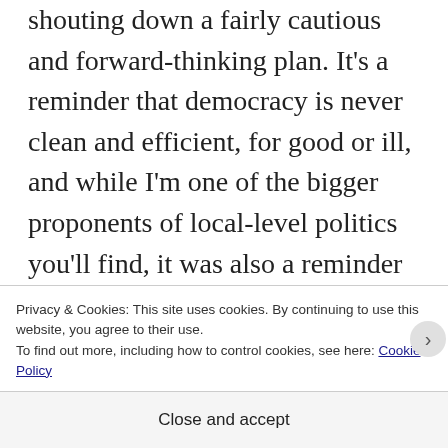shouting down a fairly cautious and forward-thinking plan. It's a reminder that democracy is never clean and efficient, for good or ill, and while I'm one of the bigger proponents of local-level politics you'll find, it was also a reminder that these town meetings are often not idyllic exercises in harmonious community-building. It's hard, it's controversial, and someone is
Privacy & Cookies: This site uses cookies. By continuing to use this website, you agree to their use.
To find out more, including how to control cookies, see here: Cookie Policy
Close and accept